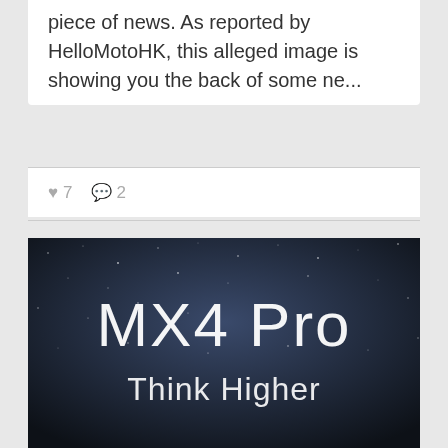piece of news. As reported by HelloMotoHK, this alleged image is showing you the back of some ne...
♥ 7  💬 2
[Figure (photo): Dark starry background with white text reading 'MX4 Pro' in large letters and 'Think Higher' below it]
Meizu MX4 Pro launched, comes with Exynos 5430 octa-core processor, fingerprint sensor and...